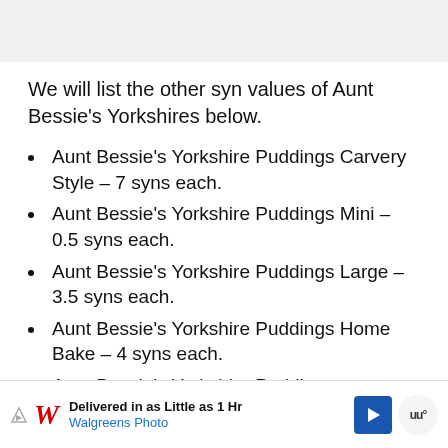We will list the other syn values of Aunt Bessie's Yorkshires below.
Aunt Bessie's Yorkshire Puddings Carvery Style – 7 syns each.
Aunt Bessie's Yorkshire Puddings Mini – 0.5 syns each.
Aunt Bessie's Yorkshire Puddings Large – 3.5 syns each.
Aunt Bessie's Yorkshire Puddings Home Bake – 4 syns each.
Aunt Bessie's Yorkshire Puddings [partially cut off]
[Figure (screenshot): Walgreens Photo advertisement banner: Delivered in as Little as 1 Hr, Walgreens Photo]